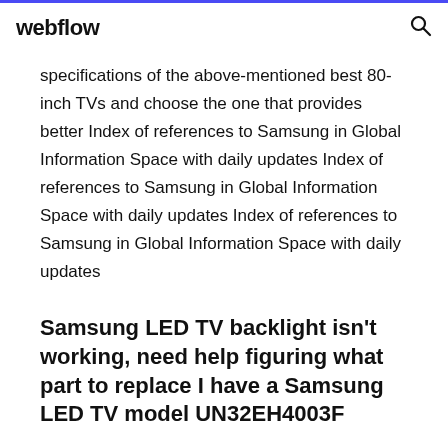webflow
specifications of the above-mentioned best 80-inch TVs and choose the one that provides better Index of references to Samsung in Global Information Space with daily updates Index of references to Samsung in Global Information Space with daily updates Index of references to Samsung in Global Information Space with daily updates
Samsung LED TV backlight isn't working, need help figuring what part to replace I have a Samsung LED TV model UN32EH4003F